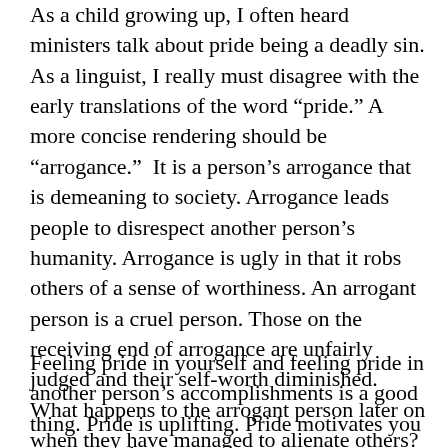As a child growing up, I often heard ministers talk about pride being a deadly sin. As a linguist, I really must disagree with the early translations of the word “pride.” A more concise rendering should be “arrogance.”  It is a person’s arrogance that is demeaning to society. Arrogance leads people to disrespect another person’s humanity. Arrogance is ugly in that it robs others of a sense of worthiness. An arrogant person is a cruel person. Those on the receiving end of arrogance are unfairly judged and their self-worth diminished. What happens to the arrogant person later on when they have managed to alienate others? It cannot have a positive outcome socially, mentally, or spiritually for the arrogant person.
Feeling pride in yourself and feeling pride in another person’s accomplishments is a good thing. Pride is uplifting. Pride motivates you to want to do